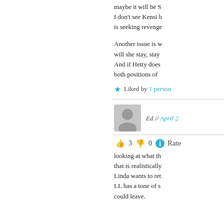maybe it will be S… I don't see Kensi b… is seeking revenge…
Another issue is w… will she stay, stay… And if Hetty does… both positions of…
★ Liked by 1 person
Ed // April 2…
👍 3 👎 0 ℹ Rate…
looking at what th… that is realistically… Linda wants to ret… LL has a tone of s… could leave.